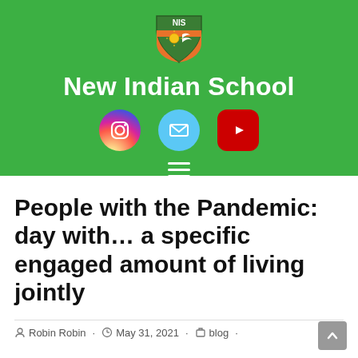[Figure (logo): NIS New Indian School shield logo with orange and green design]
New Indian School
[Figure (infographic): Social media icons: Instagram (circular gradient), Email (light blue circle), YouTube (red rounded rectangle), and hamburger menu icon]
People with the Pandemic: day with… a specific engaged amount of living jointly
Robin Robin · May 31, 2021 · blog ·